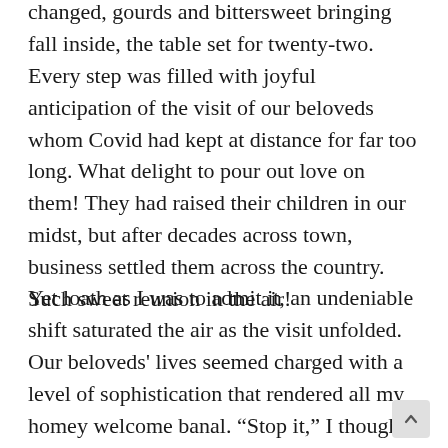changed, gourds and bittersweet bringing fall inside, the table set for twenty-two. Every step was filled with joyful anticipation of the visit of our beloveds whom Covid had kept at distance for far too long. What delight to pour out love on them! They had raised their children in our midst, but after decades across town, business settled them across the country. Such sweet reunion in the air!
Yet loath as I was to admit it, an undeniable shift saturated the air as the visit unfolded. Our beloveds' lives seemed charged with a level of sophistication that rendered all my homey welcome banal. “Stop it,” I thought. “Just keep loving.” No voice of the “accuser” welcome here.